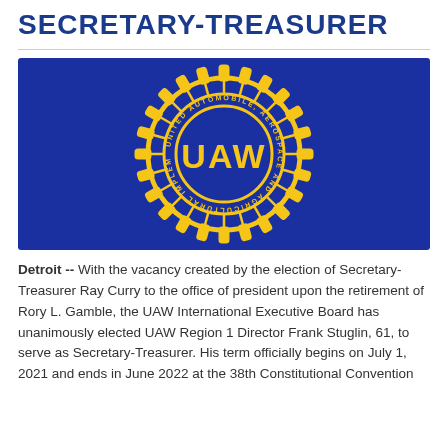SECRETARY-TREASURER
[Figure (logo): UAW (United Automobile, Aerospace and Agricultural Implement Workers of America) logo — gold gear/wheel emblem with 'UAW' text on a dark blue background]
Detroit -- With the vacancy created by the election of Secretary-Treasurer Ray Curry to the office of president upon the retirement of Rory L. Gamble, the UAW International Executive Board has unanimously elected UAW Region 1 Director Frank Stuglin, 61, to serve as Secretary-Treasurer. His term officially begins on July 1, 2021 and ends in June 2022 at the 38th Constitutional Convention